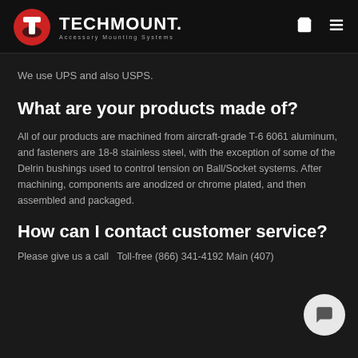TECHMOUNT. Accessory Mounting Systems
We use UPS and also USPS.
What are your products made of?
All of our products are machined from aircraft-grade T-6 6061 aluminum, and fasteners are 18-8 stainless steel, with the exception of some of the Delrin bushings used to control tension on Ball/Socket systems. After machining, components are anodized or chrome plated, and then assembled and packaged.
How can I contact customer service?
Please give us a call   Toll-free (866) 341-4192 Main (407) 354-3368 Fax (407) 438-5730   and we